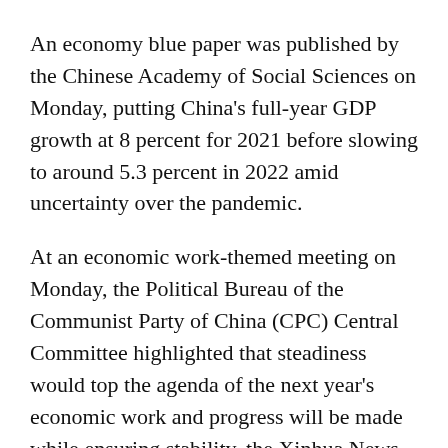An economy blue paper was published by the Chinese Academy of Social Sciences on Monday, putting China's full-year GDP growth at 8 percent for 2021 before slowing to around 5.3 percent in 2022 amid uncertainty over the pandemic.
At an economic work-themed meeting on Monday, the Political Bureau of the Communist Party of China (CPC) Central Committee highlighted that steadiness would top the agenda of the next year's economic work and progress will be made while ensuring stability, the Xinhua News Agency reported.
Growing trade clout
The galloping trade growth for the first 11 months is